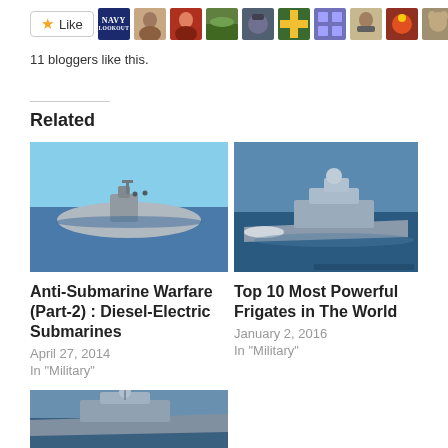[Figure (other): Like button with star icon and row of 10 blogger avatar thumbnails including Navy Lookout badge]
11 bloggers like this.
Related
[Figure (photo): Photo of a diesel-electric submarine surfaced on the ocean]
[Figure (photo): Photo of a naval frigate sailing at speed on open ocean]
Anti-Submarine Warfare (Part-2) : Diesel-Electric Submarines
April 27, 2014
In "Military"
Top 10 Most Powerful Frigates in The World
January 2, 2016
In "Military"
[Figure (photo): Photo of a navy warship/frigate at sea, partially visible at bottom of page]